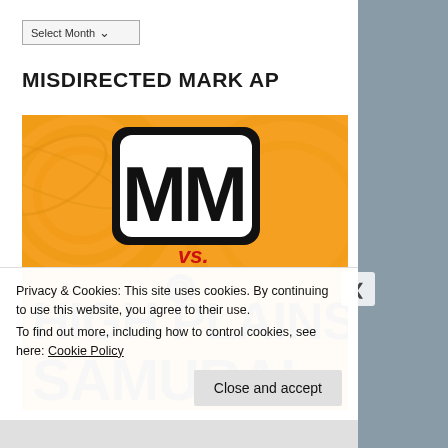Select Month
MISDIRECTED MARK AP
[Figure (illustration): MM vs. High Plains Samurai logo image on orange/yellow background with gear ornament]
Privacy & Cookies: This site uses cookies. By continuing to use this website, you agree to their use.
To find out more, including how to control cookies, see here: Cookie Policy
Close and accept